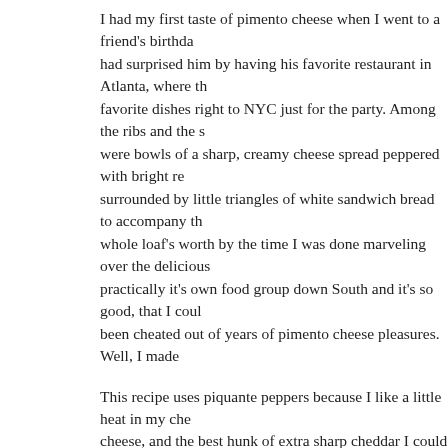I had my first taste of pimento cheese when I went to a friend's birthday party. He had surprised him by having his favorite restaurant in Atlanta, where they shipped his favorite dishes right to NYC just for the party. Among the ribs and the sides, there were bowls of a sharp, creamy cheese spread peppered with bright red pimentos, surrounded by little triangles of white sandwich bread to accompany them. I ate a whole loaf's worth by the time I was done marveling over the deliciousness. It's practically it's own food group down South and it's so good, that I could cry that I've been cheated out of years of pimento cheese pleasures. Well, I made
This recipe uses piquante peppers because I like a little heat in my cheese, and the best hunk of extra sharp cheddar I could find, grated on my own. It was so good that I ate the entire serving on my own (enough to feed a crowd) over of three days, spreading it on slices of a crusty baguette from Amy's Bread. For a New Year's Eve party, or any other social gathering, for that matter, and it will work the room, I promise. xo
Pimento Cheese
Ingredients:
8 ounces extra-sharp Cheddar, finely grated
One 4 ounce jar pimentos, roasted red peppers, or piquante peppers,
1/2 cup mayonnaise
1/3 cup cream cheese
1/2 teaspoon salt
1/4 teaspoon pepper